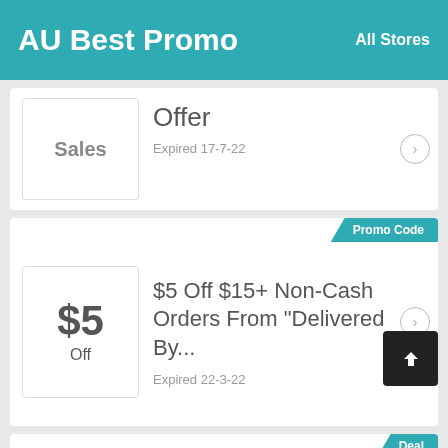AU Best Promo  All Stores
Sales  Offer  Expired 17-7-22
Promo Code
$5 Off $15+ Non-Cash Orders From "Delivered By..."
Expired 22-3-22
Deal
Save Up To 15% Off